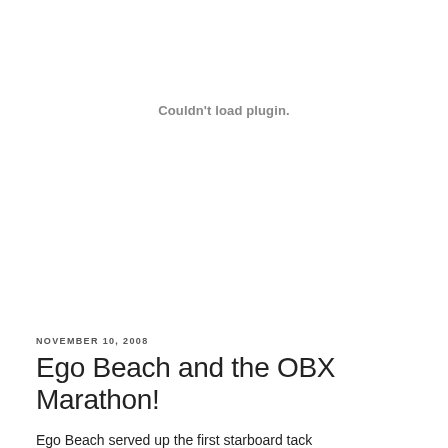[Figure (other): Plugin placeholder area showing 'Couldn't load plugin.' message]
NOVEMBER 10, 2008
Ego Beach and the OBX Marathon!
Ego Beach served up the first starboard tack